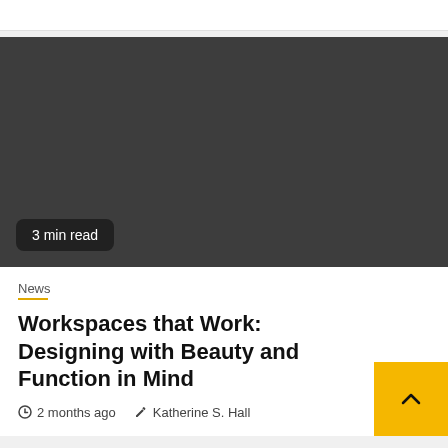[Figure (photo): Dark gray placeholder image for article thumbnail with '3 min read' badge overlay in bottom-left corner]
News
Workspaces that Work: Designing with Beauty and Function in Mind
2 months ago   Katherine S. Hall